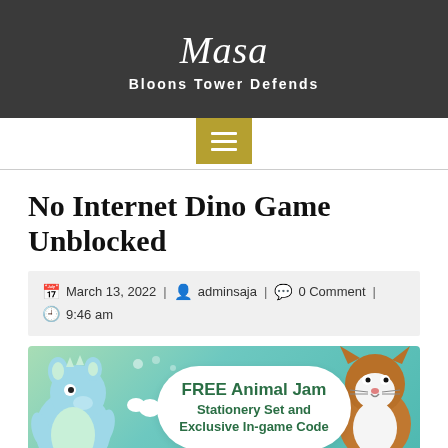Masa
Bloons Tower Defends
No Internet Dino Game Unblocked
March 13, 2022 | adminsaja | 0 Comment | 9:46 am
[Figure (illustration): Advertisement banner for FREE Animal Jam Stationery Set and Exclusive In-game Code, with plush toy animals on left and right sides against a teal/green gradient background with a white cloud speech bubble in the center.]